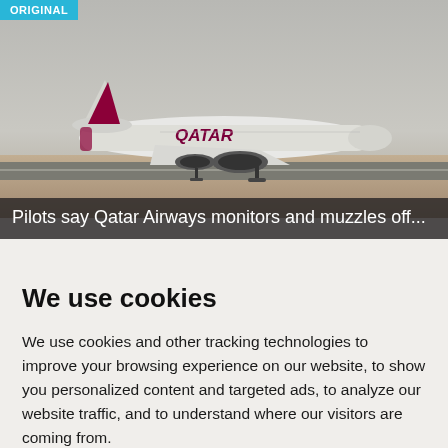[Figure (photo): Qatar Airways Boeing 787 aircraft on runway, side view, sandy desert landscape in background]
Pilots say Qatar Airways monitors and muzzles off...
We use cookies
We use cookies and other tracking technologies to improve your browsing experience on our website, to show you personalized content and targeted ads, to analyze our website traffic, and to understand where our visitors are coming from.